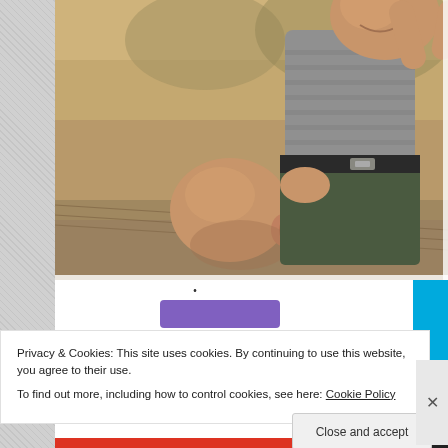[Figure (photo): Photo of a bald man lying in a hammock holding up a small child in a gray striped shirt and dark pants with a belt. The child appears to be laughing or smiling with arms raised. Outdoor setting with natural/sandy background.]
Privacy & Cookies: This site uses cookies. By continuing to use this website, you agree to their use.
To find out more, including how to control cookies, see here: Cookie Policy
Close and accept